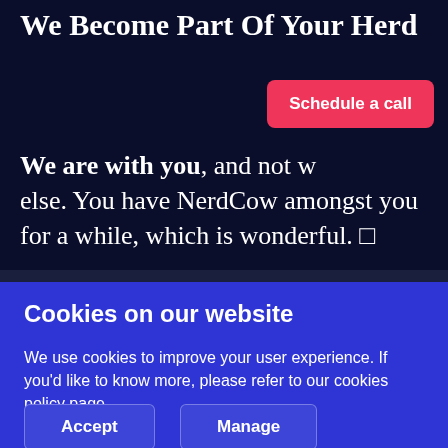We Become Part Of Your Herd
Schedule a call
We are with you, and not w... else. You have NerdCow amongst you for a while, which is wonderful. □
Cookies on our website
We use cookies to improve your user experience. If you'd like to know more, please refer to our cookies policy page.
Accept
Manage